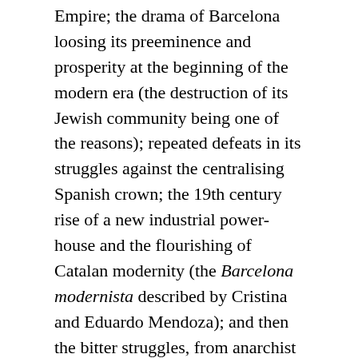Empire; the drama of Barcelona loosing its preeminence and prosperity at the beginning of the modern era (the destruction of its Jewish community being one of the reasons); repeated defeats in its struggles against the centralising Spanish crown; the 19th century rise of a new industrial power-house and the flourishing of Catalan modernity (the Barcelona modernista described by Cristina and Eduardo Mendoza); and then the bitter struggles, from anarchist terrorism to the confrontations in the Spanish civil war, ending in the deafening silence of another dictatorship. It is a riveting tale, worthy of the great epics. It also includes the most important element of a good Hollywood movie: a happy ending, sometime between the fall of Franco's regime and the Olympic games in Barcelona in 1992.
For my tourists the dark shadows of Barcelona's past were, of course, safely remote: even the most tragic history was ultimately info-tainment. Certainly gruesome